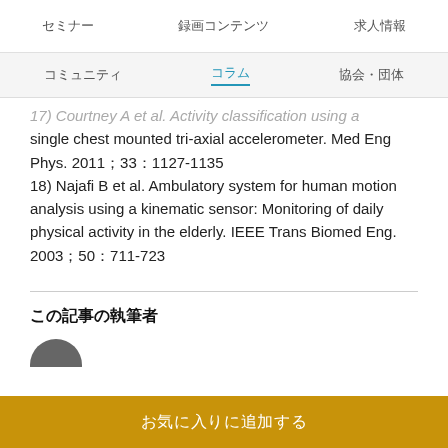セミナー　録画コンテンツ　求人情報
コミュニティ　コラム　協会・団体
17) Courtney A et al. Activity classification using a single chest mounted tri-axial accelerometer. Med Eng Phys. 2011;33:1127-1135
18) Najafi B et al. Ambulatory system for human motion analysis using a kinematic sensor: Monitoring of daily physical activity in the elderly. IEEE Trans Biomed Eng. 2003;50:711-723
この記事の執筆者
お気に入りに追加する